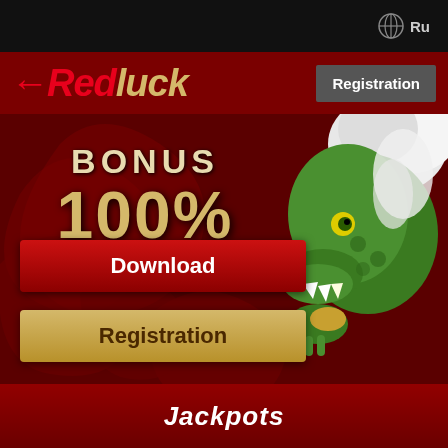[Figure (screenshot): Top navigation bar with globe icon and Ru language selector on black background]
[Figure (logo): RedLuck casino logo in red and gold italic text with left arrow symbol, on dark red header bar with Registration button]
[Figure (illustration): Casino banner with dark red swirl background, BONUS 100% text in gold, green dragon illustration on right, Download button in red, Registration button in gold]
Jackpots